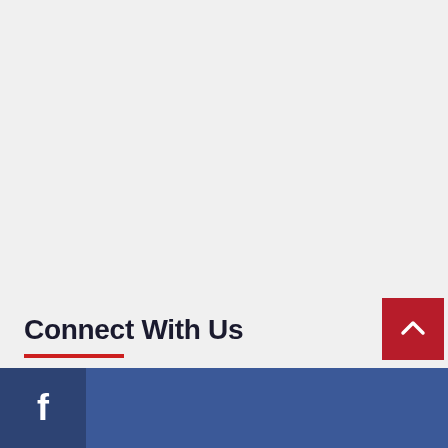Connect With Us
[Figure (other): Facebook social media bar with blue background and Facebook icon on the left side, partially visible at bottom of page]